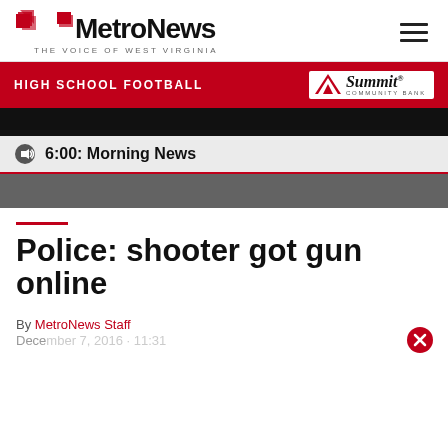MetroNews — THE VOICE OF WEST VIRGINIA
[Figure (logo): MetroNews logo with red geometric icon, bold black 'MetroNews' wordmark, tagline 'THE VOICE OF WEST VIRGINIA']
[Figure (infographic): Red banner reading 'HIGH SCHOOL FOOTBALL' with Summit Community Bank logo on white background]
6:00: Morning News
Police: shooter got gun online
By MetroNews Staff
December 7, 2016 · 11:31